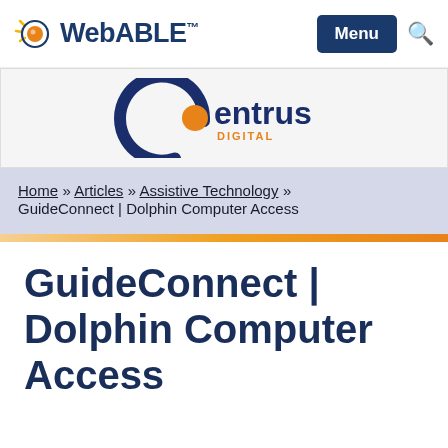WebABLE™  Menu 🔍
[Figure (logo): Centrus Digital logo — large dark blue C with orange circle inside, text 'entrus' in dark blue and 'DIGITAL' in orange below]
Home » Articles » Assistive Technology » GuideConnect | Dolphin Computer Access
GuideConnect | Dolphin Computer Access